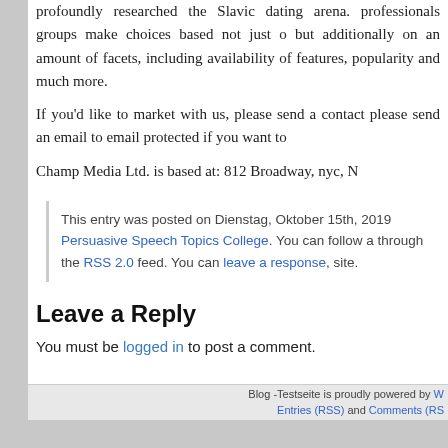profoundly researched the Slavic dating arena. professionals groups make choices based not just o but additionally on an amount of facets, including availability of features, popularity and much more.
If you'd like to market with us, please send a contact please send an email to email protected if you want to
Champ Media Ltd. is based at: 812 Broadway, nyc, N
This entry was posted on Dienstag, Oktober 15th, 2019 Persuasive Speech Topics College. You can follow a through the RSS 2.0 feed. You can leave a response, site.
Leave a Reply
You must be logged in to post a comment.
Blog -Testseite is proudly powered by W Entries (RSS) and Comments (RS